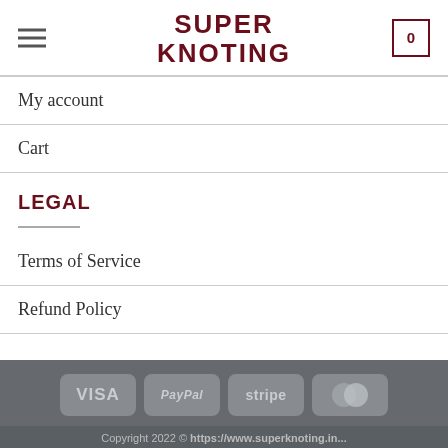SUPER KNOTING
My account
Cart
LEGAL
Terms of Service
Refund Policy
VISA  PayPal  stripe  MasterCard
Copyright 2022 © https://www.superknoting.in...